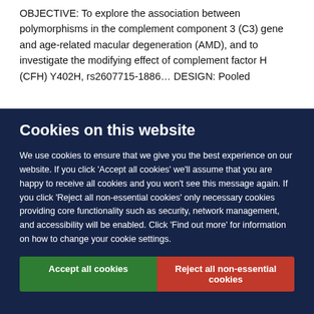OBJECTIVE: To explore the association between polymorphisms in the complement component 3 (C3) gene and age-related macular degeneration (AMD), and to investigate the modifying effect of complement factor H (CFH) Y402H, rs2607715-1886... DESIGN: Pooled...
Cookies on this website
We use cookies to ensure that we give you the best experience on our website. If you click 'Accept all cookies' we'll assume that you are happy to receive all cookies and you won't see this message again. If you click 'Reject all non-essential cookies' only necessary cookies providing core functionality such as security, network management, and accessibility will be enabled. Click 'Find out more' for information on how to change your cookie settings.
Accept all cookies | Reject all non-essential cookies